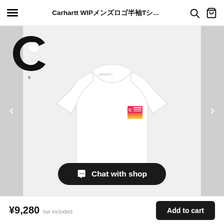Carhartt WIPメンズロゴ半袖Tシ...
[Figure (logo): Carhartt WIP black C logo]
[Figure (photo): White Carhartt WIP short-sleeve T-shirt with small colorful logo graphic on chest, displayed on light gray background with Chat with shop button overlay]
¥9,280  tax included
Add to cart